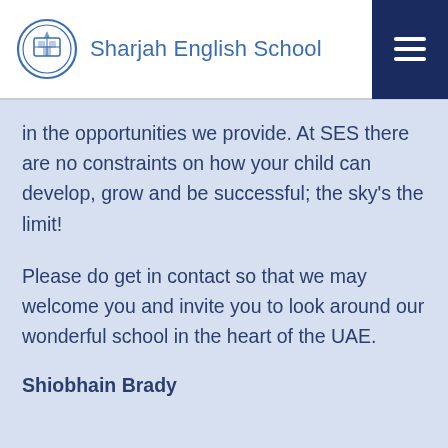Sharjah English School
in the opportunities we provide. At SES there are no constraints on how your child can develop, grow and be successful; the sky's the limit!
Please do get in contact so that we may welcome you and invite you to look around our wonderful school in the heart of the UAE.
Shiobhain Brady